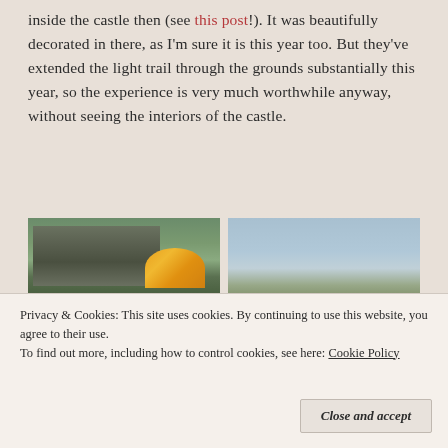inside the castle then (see this post!). It was beautifully decorated in there, as I'm sure it is this year too. But they've extended the light trail through the grounds substantially this year, so the experience is very much worthwhile anyway, without seeing the interiors of the castle.
[Figure (photo): Left photo: View of a castle with a person in a white top walking towards it, fairground lights visible in background, green lawn in foreground]
[Figure (photo): Right photo: View of a castle with topiary hedges and a moat or pond, under a cloudy sky]
Privacy & Cookies: This site uses cookies. By continuing to use this website, you agree to their use.
To find out more, including how to control cookies, see here: Cookie Policy